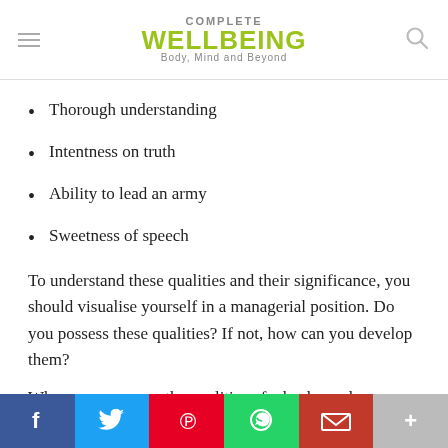COMPLETE WELLBEING Body, Mind and Beyond
Thorough understanding
Intentness on truth
Ability to lead an army
Sweetness of speech
To understand these qualities and their significance, you should visualise yourself in a managerial position. Do you possess these qualities? If not, how can you develop them?
When you compare the qualities of a leader and manager, you will
Facebook Twitter Pinterest WhatsApp Gmail More